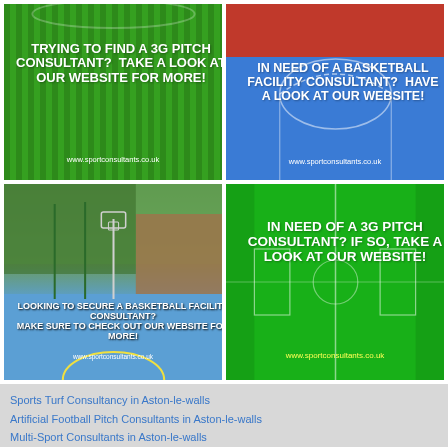[Figure (photo): Green artificial turf pitch with white bold text overlay: 'TRYING TO FIND A 3G PITCH CONSULTANT? TAKE A LOOK AT OUR WEBSITE FOR MORE!' and URL www.sportconsultants.co.uk]
[Figure (photo): Blue basketball court with red top section, white court markings, bold white text: 'IN NEED OF A BASKETBALL FACILITY CONSULTANT? HAVE A LOOK AT OUR WEBSITE!' and URL www.sportconsultants.co.uk]
[Figure (photo): Outdoor basketball court with fence and trees, blue court surface with yellow circle, bold white text: 'LOOKING TO SECURE A BASKETBALL FACILITY CONSULTANT? MAKE SURE TO CHECK OUT OUR WEBSITE FOR MORE!']
[Figure (photo): Bright green 3G pitch graphic with white pitch markings, bold white text: 'IN NEED OF A 3G PITCH CONSULTANT? IF SO, TAKE A LOOK AT OUR WEBSITE!' and yellow URL www.sportconsultants.co.uk]
Sports Turf Consultancy in Aston-le-walls
Artificial Football Pitch Consultants in Aston-le-walls
Multi-Sport Consultants in Aston-le-walls